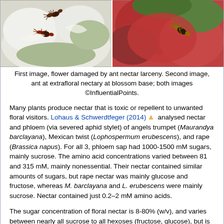[Figure (photo): Two photographs side by side: left photo shows ants on a white flower damaged by nectar larceny; right photo shows an ant at an extrafloral nectary at the base of a reddish-green blossom.]
First image, flower damaged by ant nectar larceny. Second image, ant at extrafloral nectary at blossom base; both images ©InfluentialPoints.
Many plants produce nectar that is toxic or repellent to unwanted floral visitors. Lohaus & Schwerdtfeger (2014) analysed nectar and phloem (via severed aphid stylet) of angels trumpet (Maurandya barclayana), Mexican twist (Lophospermum erubescens), and rape (Brassica napus). For all 3, phloem sap had 1000-1500 mM sugars, mainly sucrose. The amino acid concentrations varied between 81 and 315 mM, mainly nonessential. Their nectar contained similar amounts of sugars, but rape nectar was mainly glucose and fructose, whereas M. barclayana and L. erubescens were mainly sucrose. Nectar contained just 0.2–2 mM amino acids.
The sugar concentration of floral nectar is 8-80% (w/v), and varies between nearly all sucrose to all hexoses (fructose, glucose), but is fairly consistent within a given species given their preferred pollinators (hummingbirds prefer dilute, sucrose-rich nectars, whereas short-tongued bees and flies favour more concentrated hexose-rich nectars). Rarer sugars identified in nectars of some flowers can be toxic to potential pollinators (Roy et. al, 2017). The